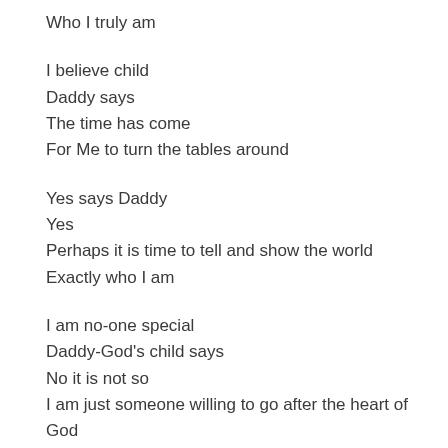Who I truly am
I believe child
Daddy says
The time has come
For Me to turn the tables around
Yes says Daddy
Yes
Perhaps it is time to tell and show the world
Exactly who I am
I am no-one special
Daddy-God's child says
No it is not so
I am just someone willing to go after the heart of God
I would like to...